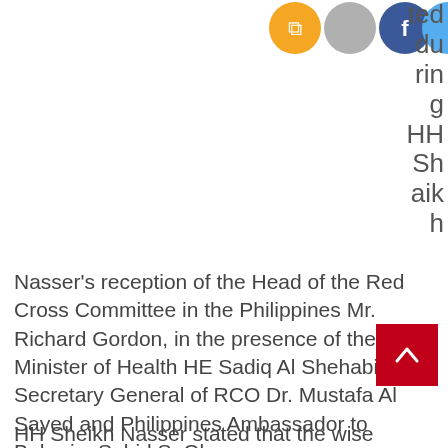[Figure (illustration): Social media icons: RSS (orange), a grey circle icon, Facebook (blue), Twitter (light blue), partially visible at the top of the page]
ted during HH Shaikh Nasser's reception of the Head of the Red Cross Committee in the Philippines Mr. Richard Gordon, in the presence of the Minister of Health HE Sadiq Al Shehabi, Secretary General of RCO Dr. Mustafa Al Sayed and Philippines Ambassador to Bahrain, Sahid S. Glang.
HH Sheikh Nasser stated that the wise